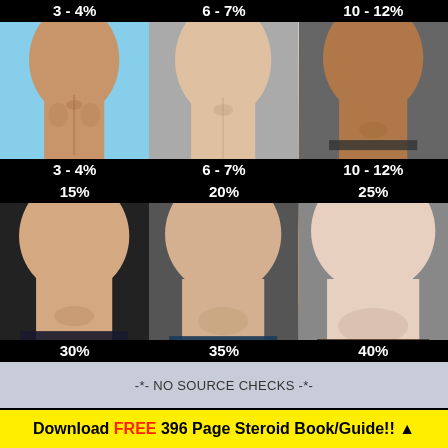[Figure (photo): Grid of 6 male torso photos showing body fat percentages: 3-4%, 6-7%, 10-12%, 15%, 20%, 25%, 30%, 35%, 40%]
-*- NO SOURCE CHECKS -*-
Download FREE 396 Page Steroid Book/Guide!! ▲